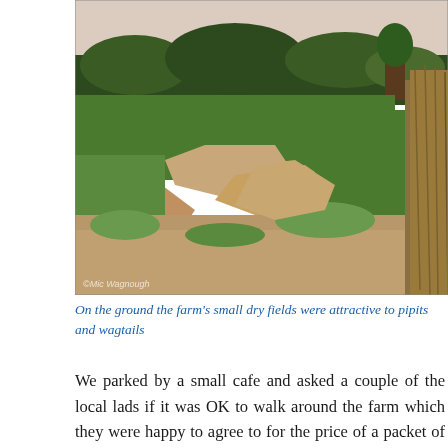[Figure (photo): Aerial ground-level photograph of a farm with small dry sandy fields and patches of green grass, dirt paths winding through, dense green shrubs and trees in the background, pale sky above. A photographer's watermark is visible in the lower left corner.]
On the ground the farm's small dry fields were attractive to pipits and wagtails
We parked by a small cafe and asked a couple of the local lads if it was OK to walk around the farm which they were happy to agree to for the price of a packet of cigarettes (2 euro).  There were constantly Bee-eaters over head and the